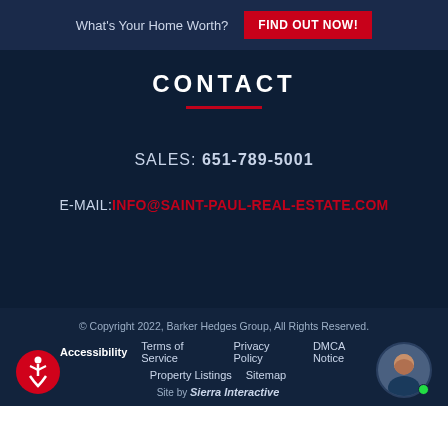What's Your Home Worth?
FIND OUT NOW!
CONTACT
SALES: 651-789-5001
E-MAIL: INFO@SAINT-PAUL-REAL-ESTATE.COM
© Copyright 2022, Barker Hedges Group, All Rights Reserved.
Accessibility
Terms of Service
Privacy Policy
DMCA Notice
Property Listings
Sitemap
Site by Sierra Interactive